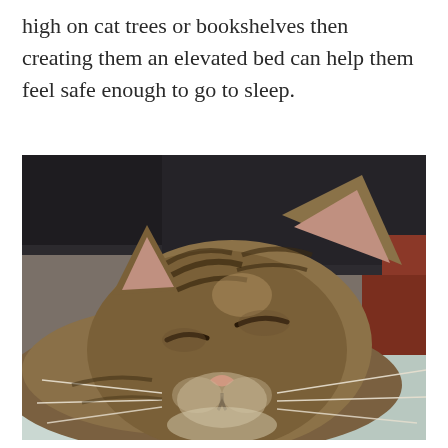high on cat trees or bookshelves then creating them an elevated bed can help them feel safe enough to go to sleep.
[Figure (photo): Close-up photo of a tabby cat sleeping with eyes closed, resting its head on a light blue surface, with a person's arm/shirt visible in the background.]